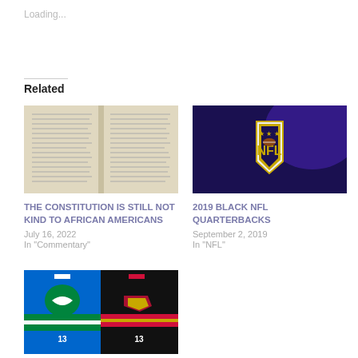Loading...
Related
[Figure (photo): Open book with dense text columns, aged paper]
THE CONSTITUTION IS STILL NOT KIND TO AFRICAN AMERICANS
July 16, 2022
In "Commentary"
[Figure (photo): NFL logo gold shield on dark blue/purple background]
2019 BLACK NFL QUARTERBACKS
September 2, 2019
In "NFL"
[Figure (photo): Two hockey jerseys side by side: Vancouver Canucks blue and green, Vancouver Canucks black Skate jersey]
My Favorite Pro Uniforms